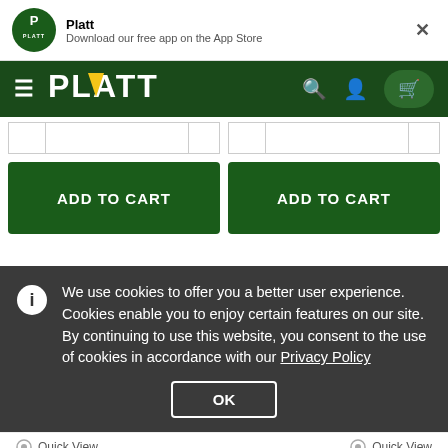[Figure (logo): Platt app banner with logo, 'Platt' name, 'Download our free app on the App Store' text, and close X button]
[Figure (logo): Platt website navigation bar with hamburger menu, PLATT logo, search icon, user icon, and cart icon]
ADD TO CART (left button)
ADD TO CART (right button)
We use cookies to offer you a better user experience. Cookies enable you to enjoy certain features on our site. By continuing to use this website, you consent to the use of cookies in accordance with our Privacy Policy
OK
Quick View
Quick View